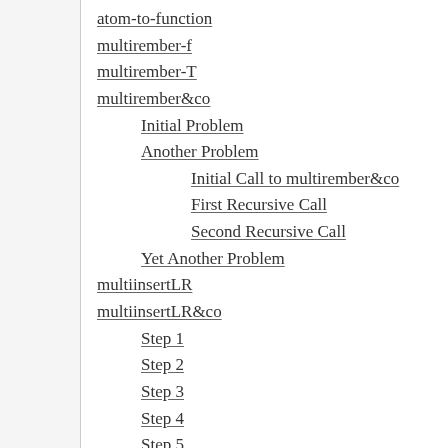atom-to-function
multirember-f
multirember-T
multirember&co
Initial Problem
Another Problem
Initial Call to multirember&co
First Recursive Call
Second Recursive Call
Yet Another Problem
multiinsertLR
multiinsertLR&co
Step 1
Step 2
Step 3
Step 4
Step 5
Step 6
Step 7
Step 8
evens-only*
evens-only*&co